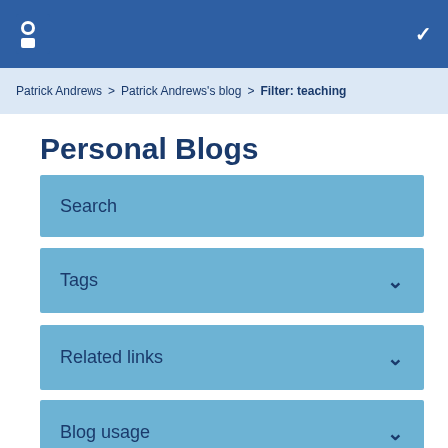Navigation header with university logo and chevron
Patrick Andrews > Patrick Andrews's blog > Filter: teaching
Personal Blogs
Search
Tags
Related links
Blog usage